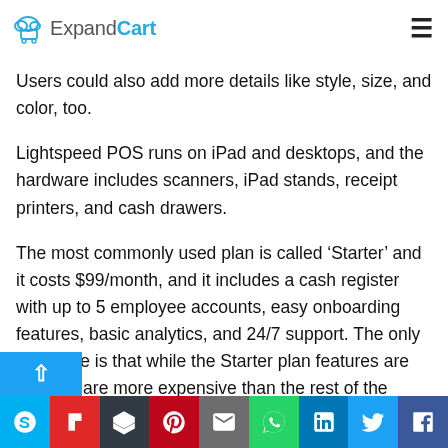ExpandCart
Users could also add more details like style, size, and color, too.
Lightspeed POS runs on iPad and desktops, and the hardware includes scanners, iPad stands, receipt printers, and cash drawers.
The most commonly used plan is called ‘Starter’ and it costs $99/month, and it includes a cash register with up to 5 employee accounts, easy onboarding features, basic analytics, and 24/7 support. The only downside is that while the Starter plan features are g… hey are more expensive than the rest of the